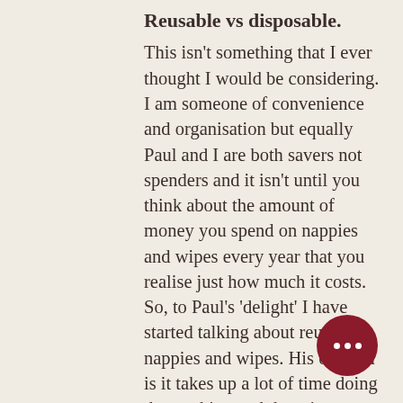Reusable vs disposable.
This isn't something that I ever thought I would be considering. I am someone of convenience and organisation but equally Paul and I are both savers not spenders and it isn't until you think about the amount of money you spend on nappies and wipes every year that you realise just how much it costs. So, to Paul's 'delight' I have started talking about reusable nappies and wipes. His opinion is it takes up a lot of time doing the washing and there is no way I will keep up; although this just makes me determined to do it (I'm also a little stubborn!) We have bitten the bullet and bou… reusable nappies this time. Being